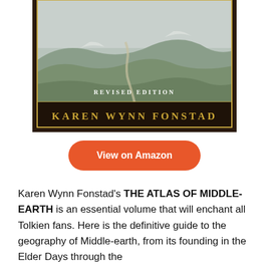[Figure (photo): Book cover of 'The Atlas of Middle-Earth, Revised Edition' by Karen Wynn Fonstad. Shows a landscape painting of rolling hills and winding paths in muted greens and grays. Text 'REVISED EDITION' in white letters near bottom of image area. Author name 'KAREN WYNN FONSTAD' in gold capital letters on dark brown background below the image.]
View on Amazon
Karen Wynn Fonstad's THE ATLAS OF MIDDLE-EARTH is an essential volume that will enchant all Tolkien fans. Here is the definitive guide to the geography of Middle-earth, from its founding in the Elder Days through the